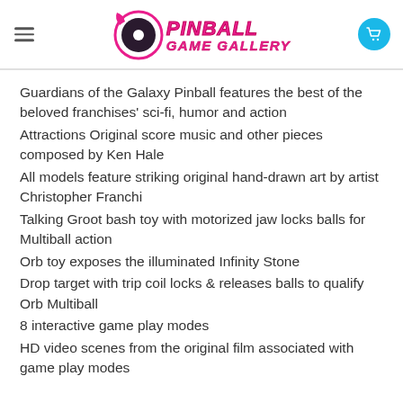Pinball Game Gallery
Guardians of the Galaxy Pinball features the best of the beloved franchises' sci-fi, humor and action
Attractions Original score music and other pieces composed by Ken Hale
All models feature striking original hand-drawn art by artist Christopher Franchi
Talking Groot bash toy with motorized jaw locks balls for Multiball action
Orb toy exposes the illuminated Infinity Stone
Drop target with trip coil locks & releases balls to qualify Orb Multiball
8 interactive game play modes
HD video scenes from the original film associated with game play modes